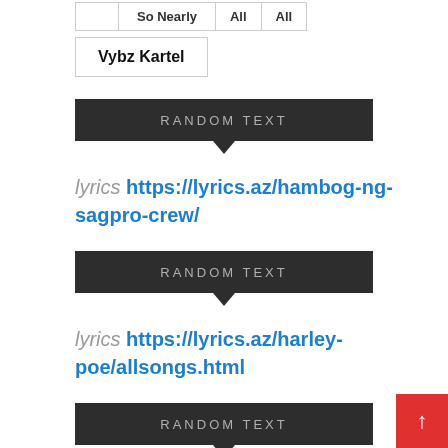|  | So Nearly | All | All |
| Vybz Kartel |
RANDOM TEXT
lyrics https://lyrics.az/hambog-ng-sagpro-crew/
RANDOM TEXT
lyrics https://lyrics.az/harley-poe/allsongs.html
RANDOM TEXT
https://azlyrics.com.az/lyrics/flume-